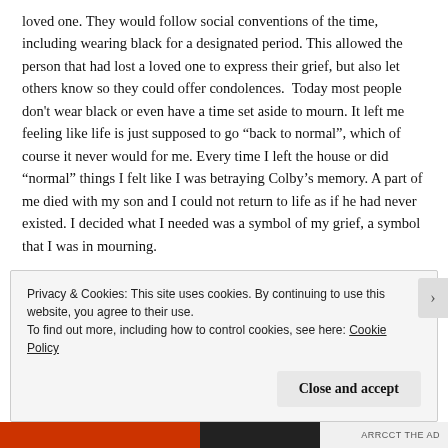loved one. They would follow social conventions of the time, including wearing black for a designated period. This allowed the person that had lost a loved one to express their grief, but also let others know so they could offer condolences.  Today most people don't wear black or even have a time set aside to mourn. It left me feeling like life is just supposed to go “back to normal”, which of course it never would for me. Every time I left the house or did “normal” things I felt like I was betraying Colby’s memory. A part of me died with my son and I could not return to life as if he had never existed. I decided what I needed was a symbol of my grief, a symbol that I was in mourning.
Privacy & Cookies: This site uses cookies. By continuing to use this website, you agree to their use.
To find out more, including how to control cookies, see here: Cookie Policy
Close and accept